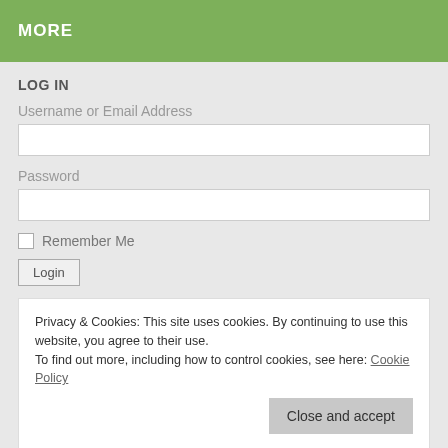MORE
LOG IN
Username or Email Address
Password
Remember Me
Privacy & Cookies: This site uses cookies. By continuing to use this website, you agree to their use.
To find out more, including how to control cookies, see here: Cookie Policy
Close and accept
newsletters which are emailed regularly to subscribers